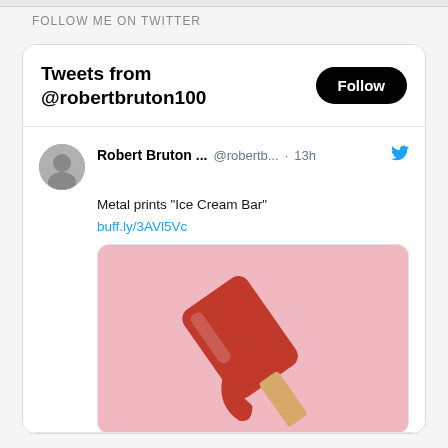FOLLOW ME ON TWITTER
[Figure (screenshot): Twitter/X embedded widget showing tweets from @robertbruton100 with a Follow button. A tweet by Robert Bruton reads 'Metal prints "Ice Cream Bar"' with link buff.ly/3AVl5Vc and an image of a red ice cream bar on a pink background. 1 like shown.]